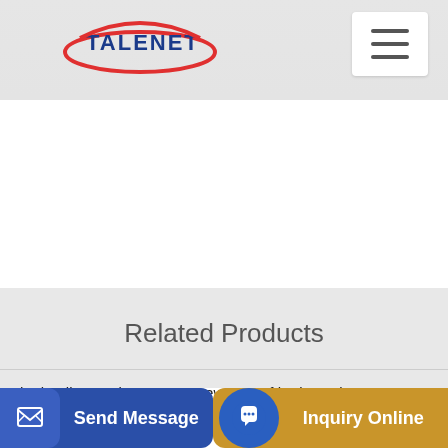[Figure (logo): Talenet company logo with red ellipse and blue text]
Related Products
hydraulic grouting pump a new type of horizontal concrete pump
90 cubic meters per hour precast concrete plant for sale
Send Message | Inquiry Online